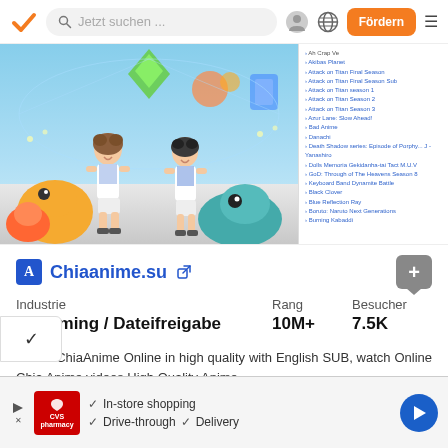Jetzt suchen ... Fördern
[Figure (screenshot): Screenshot of chiaanime.su website showing anime characters and a list of anime titles on the right side]
Chiaanime.su
| Industrie | Rang | Besucher |
| --- | --- | --- |
| Streaming / Dateifreigabe | 10M+ | 7.5K |
Watch ChiaAnime Online in high quality with English SUB, watch Online Chia Anime videos High Quality Anime ...
[Figure (screenshot): CVS Pharmacy advertisement banner with In-store shopping, Drive-through, and Delivery options]